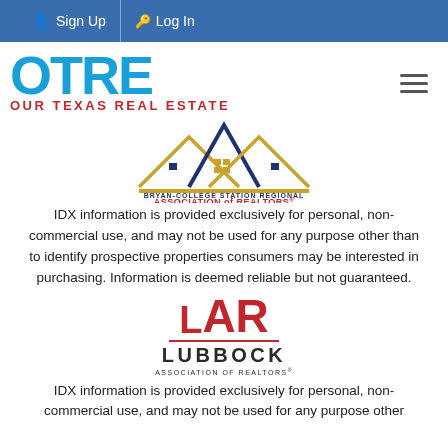Sign Up  Log In
[Figure (logo): OTRE - Our Texas Real Estate logo with large blue letters and red subtitle text]
[Figure (logo): Bryan-College Station Regional Association of Realtors logo with house rooftop illustration and gold bar]
IDX information is provided exclusively for personal, non-commercial use, and may not be used for any purpose other than to identify prospective properties consumers may be interested in purchasing. Information is deemed reliable but not guaranteed.
[Figure (logo): LAR Lubbock Association of Realtors logo with red block letters and divider line]
IDX information is provided exclusively for personal, non-commercial use, and may not be used for any purpose other